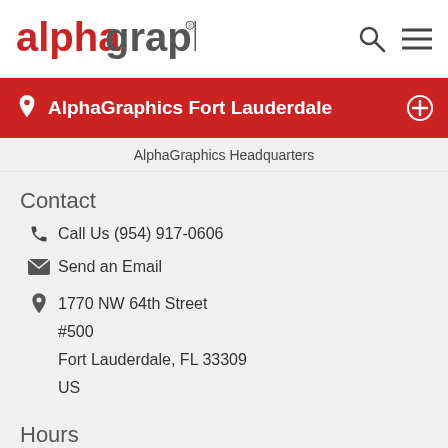AlphaGraphics
AlphaGraphics Fort Lauderdale
AlphaGraphics Headquarters
Contact
Call Us (954) 917-0606
Send an Email
1770 NW 64th Street
#500
Fort Lauderdale, FL 33309
US
Hours